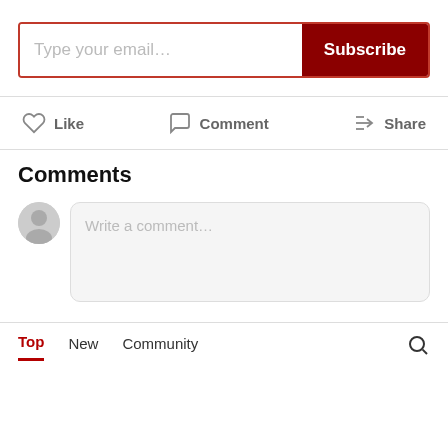[Figure (screenshot): Email subscription input box with placeholder 'Type your email...' and a dark red Subscribe button]
Like   Comment   Share
Comments
Write a comment...
Top   New   Community